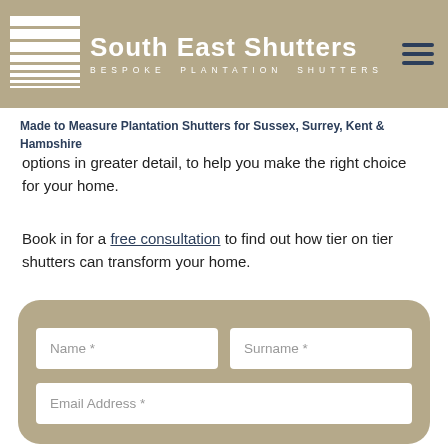South East Shutters — BESPOKE PLANTATION SHUTTERS
Made to Measure Plantation Shutters for Sussex, Surrey, Kent & Hampshire
options in greater detail, to help you make the right choice for your home.
Book in for a free consultation to find out how tier on tier shutters can transform your home.
[Figure (screenshot): Contact form with fields: Name *, Surname *, Email Address *]